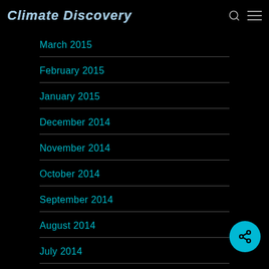Climate Discovery
March 2015
February 2015
January 2015
December 2014
November 2014
October 2014
September 2014
August 2014
July 2014
June 2014